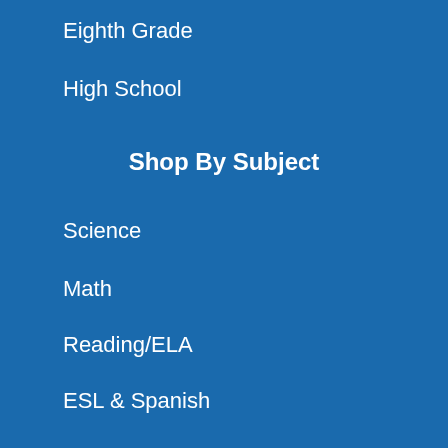Eighth Grade
High School
Shop By Subject
Science
Math
Reading/ELA
ESL & Spanish
Social Studies
Health